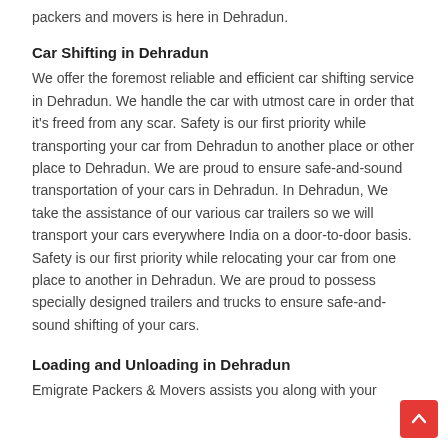packers and movers is here in Dehradun.
Car Shifting in Dehradun
We offer the foremost reliable and efficient car shifting service in Dehradun. We handle the car with utmost care in order that it's freed from any scar. Safety is our first priority while transporting your car from Dehradun to another place or other place to Dehradun. We are proud to ensure safe-and-sound transportation of your cars in Dehradun. In Dehradun, We take the assistance of our various car trailers so we will transport your cars everywhere India on a door-to-door basis. Safety is our first priority while relocating your car from one place to another in Dehradun. We are proud to possess specially designed trailers and trucks to ensure safe-and-sound shifting of your cars.
Loading and Unloading in Dehradun
Emigrate Packers & Movers assists you along with your